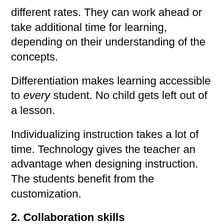different rates. They can work ahead or take additional time for learning, depending on their understanding of the concepts.
Differentiation makes learning accessible to every student. No child gets left out of a lesson.
Individualizing instruction takes a lot of time. Technology gives the teacher an advantage when designing instruction. The students benefit from the customization.
2. Collaboration skills
Any work is easier and more productive when done as a team.
Teams can learn and grow with the benefits they offer, but they need…